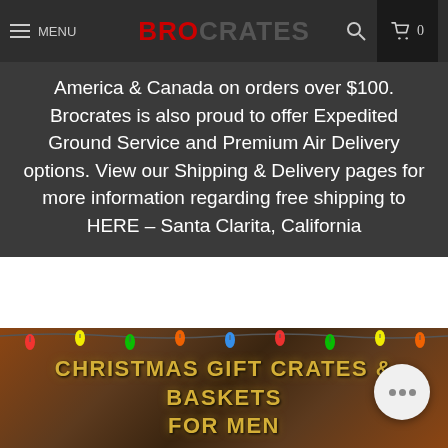MENU | BROCRATES | search | cart 0
America & Canada on orders over $100. Brocrates is also proud to offer Expedited Ground Service and Premium Air Delivery options. View our Shipping & Delivery pages for more information regarding free shipping to HERE – Santa Clarita, California
It's simple to find the perfect gift for any guy with the help of BroCrates!
[Figure (photo): Christmas lights banner with colorful string lights over a wooden background, with text 'CHRISTMAS GIFT CRATES & BASKETS FOR MEN' in gold metallic font]